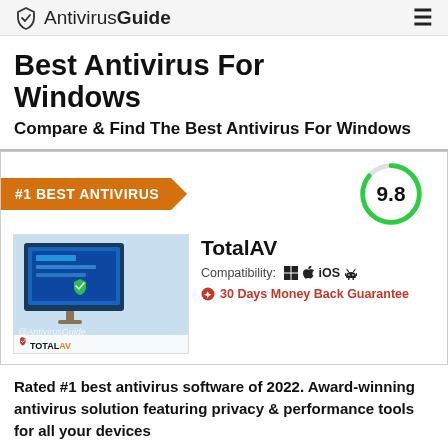AntivirusGuide
Best Antivirus For Windows
Compare & Find The Best Antivirus For Windows
[Figure (infographic): Product card for TotalAV antivirus. Orange ribbon '#1 BEST ANTIVIRUS', score circle 9.8, product screenshot image, product name TotalAV, compatibility icons (Windows, Apple, iOS, Android), 30 Days Money Back Guarantee text.]
Rated #1 best antivirus software of 2022. Award-winning antivirus solution featuring privacy & performance tools for all your devices